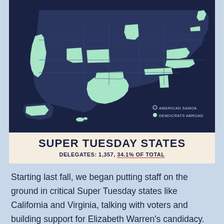[Figure (map): Dark navy blue US map with highlighted Super Tuesday states shown in mint/light green, including California, Colorado, Texas, Virginia, North Carolina, and others. Legend shows American Samoa and Democrats Abroad as mint green dots.]
SUPER TUESDAY STATES
DELEGATES: 1,357, 34.1% OF TOTAL
Starting last fall, we began putting staff on the ground in critical Super Tuesday states like California and Virginia, talking with voters and building support for Elizabeth Warren's candidacy.